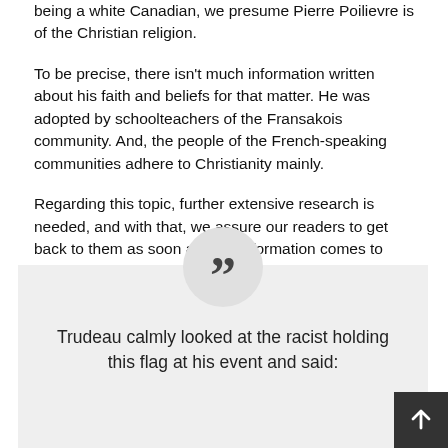being a white Canadian, we presume Pierre Poilievre is of the Christian religion.
To be precise, there isn't much information written about his faith and beliefs for that matter. He was adopted by schoolteachers of the Fransakois community. And, the people of the French-speaking communities adhere to Christianity mainly.
Regarding this topic, further extensive research is needed, and with that, we assure our readers to get back to them as soon as new information comes to light.
Trudeau calmly looked at the racist holding this flag at his event and said: